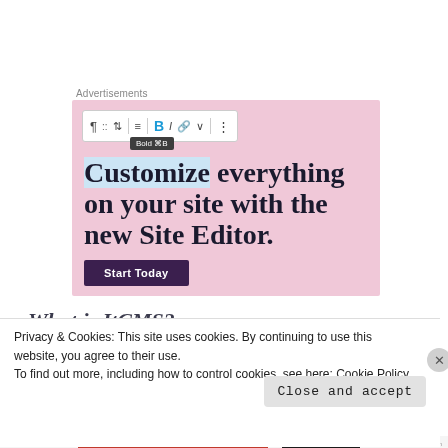Advertisements
[Figure (screenshot): A WordPress site editor advertisement on a pink background. Shows a text editor toolbar at the top with a Bold tooltip visible. Main text reads 'Customize everything on your site with the new Site Editor.' with a dark purple 'Start Today' button at the bottom.]
What is ItCMS?
Privacy & Cookies: This site uses cookies. By continuing to use this website, you agree to their use.
To find out more, including how to control cookies, see here: Cookie Policy
Close and accept